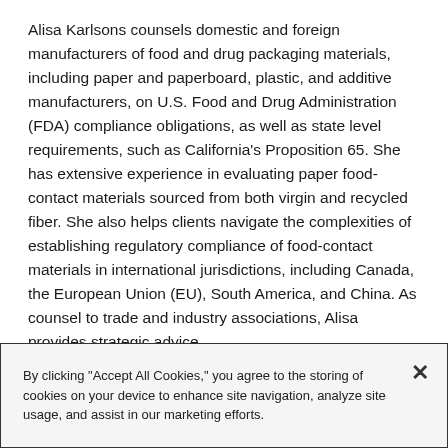Alisa Karlsons counsels domestic and foreign manufacturers of food and drug packaging materials, including paper and paperboard, plastic, and additive manufacturers, on U.S. Food and Drug Administration (FDA) compliance obligations, as well as state level requirements, such as California's Proposition 65. She has extensive experience in evaluating paper food-contact materials sourced from both virgin and recycled fiber. She also helps clients navigate the complexities of establishing regulatory compliance of food-contact materials in international jurisdictions, including Canada, the European Union (EU), South America, and China. As counsel to trade and industry associations, Alisa provides strategic advice
By clicking "Accept All Cookies," you agree to the storing of cookies on your device to enhance site navigation, analyze site usage, and assist in our marketing efforts.